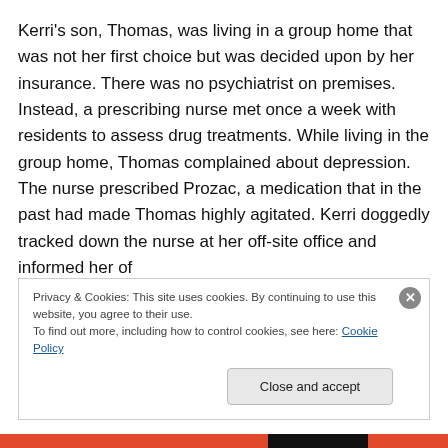Kerri's son, Thomas, was living in a group home that was not her first choice but was decided upon by her insurance. There was no psychiatrist on premises. Instead, a prescribing nurse met once a week with residents to assess drug treatments. While living in the group home, Thomas complained about depression. The nurse prescribed Prozac, a medication that in the past had made Thomas highly agitated. Kerri doggedly tracked down the nurse at her off-site office and informed her of
Privacy & Cookies: This site uses cookies. By continuing to use this website, you agree to their use.
To find out more, including how to control cookies, see here: Cookie Policy